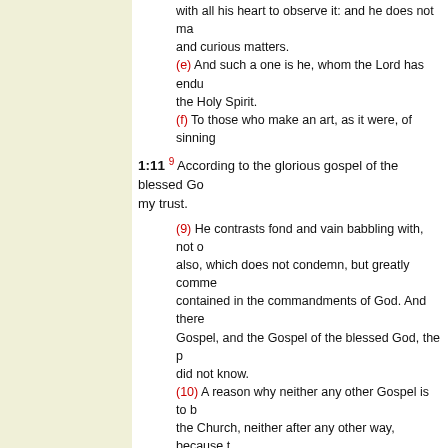with all his heart to observe it: and he does not ma and curious matters.
(e) And such a one is he, whom the Lord has endu the Holy Spirit.
(f) To those who make an art, as it were, of sinning
1:11 9 According to the glorious gospel of the blessed Go my trust.
(9) He contrasts fond and vain babbling with, not o also, which does not condemn, but greatly comme contained in the commandments of God. And there Gospel, and the Gospel of the blessed God, the p did not know.
(10) A reason why neither any other Gospel is to b the Church, neither after any other way, because t besides that which God committed to him.
1:12 11 And I thank Christ Jesus our Lord, who hath g ena me faithful, putting me into the ministry;
(11) He maintains of necessity his apostleship aga with his former life, debasing himself even to hell, t with which he abolished all those his former doings
(g) Who gave me strength, not only when I had no was wholly given to evil.
1:13 Who was before a h blasphemer, and a persecutor, a mercy, because I did [it] ignorantly in unbelief.
(h) These are the meritorious works which Paul bra